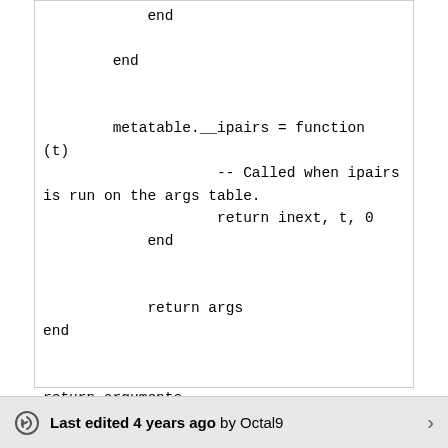end

        end


        metatable.__ipairs = function
(t)
                    -- Called when ipairs
is run on the args table.
                    return inext, t, 0
            end


            return args
end


return arguments
Last edited 4 years ago by Octal9